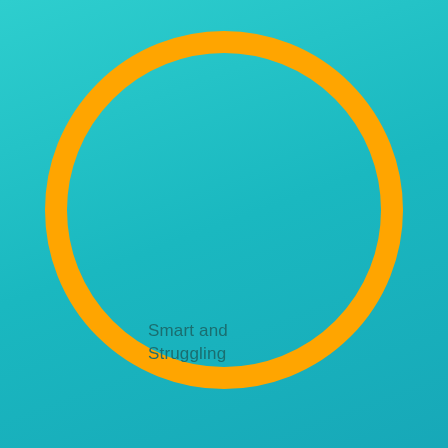[Figure (illustration): Large orange circle outline (ring) centered slightly above-center on a teal/turquoise gradient background. Inside the lower-left portion of the circle interior is the text 'Smart and Struggling' in a dark teal sans-serif font.]
Smart and Struggling